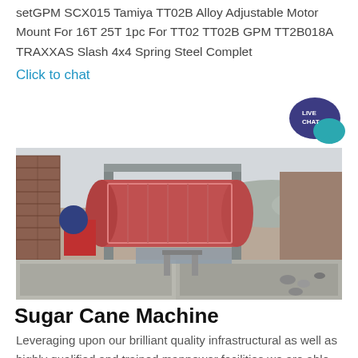setGPM SCX015 Tamiya TT02B Alloy Adjustable Motor Mount For 16T 25T 1pc For TT02 TT02B GPM TT2B018A TRAXXAS Slash 4x4 Spring Steel Complet
Click to chat
[Figure (photo): Industrial ball mill machine at a mining or quarrying site, aerial/elevated view showing the cylindrical mill, support structures, and concrete basins with crushed rock material.]
Sugar Cane Machine
Leveraging upon our brilliant quality infrastructural as well as highly qualified and trained manpower facilities we are able to bring forth to our clients one of the